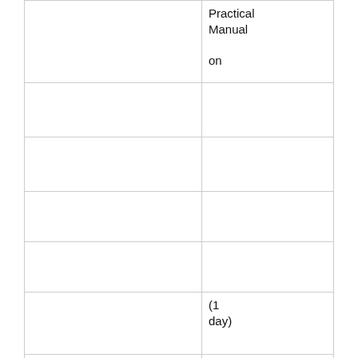|  | Practical Manual on |
|  |  |
|  |  |
|  |  |
|  |  |
|  | (1 day) |
|  |  |
|  |  |
|  |  |
|  | Adolescent Health |